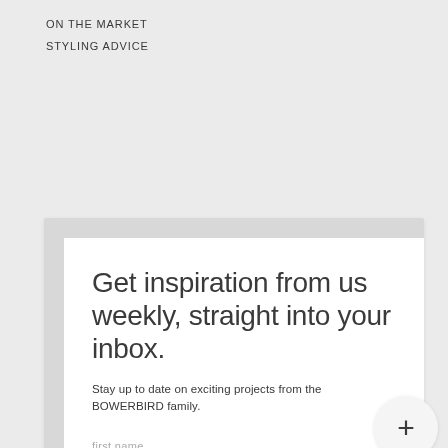ON THE MARKET
STYLING ADVICE
Get inspiration from us weekly, straight into your inbox.
Stay up to date on exciting projects from the BOWERBIRD family.
first name
last name